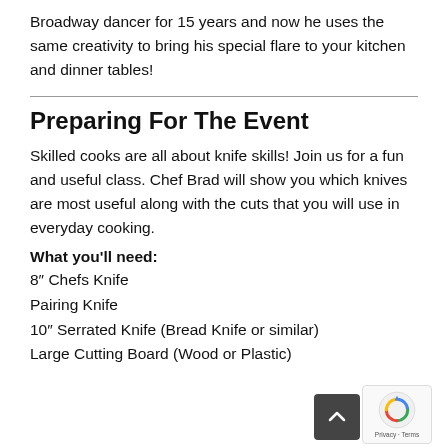Broadway dancer for 15 years and now he uses the same creativity to bring his special flare to your kitchen and dinner tables!
Preparing For The Event
Skilled cooks are all about knife skills! Join us for a fun and useful class. Chef Brad will show you which knives are most useful along with the cuts that you will use in everyday cooking.
What you'll need:
8″ Chefs Knife
Pairing Knife
10″ Serrated Knife (Bread Knife or similar)
Large Cutting Board (Wood or Plastic)